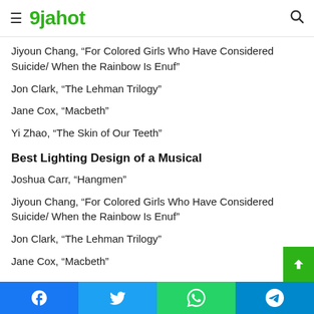9jahot
Jiyoun Chang, “For Colored Girls Who Have Considered Suicide/ When the Rainbow Is Enuf”
Jon Clark, “The Lehman Trilogy”
Jane Cox, “Macbeth”
Yi Zhao, “The Skin of Our Teeth”
Best Lighting Design of a Musical
Joshua Carr, “Hangmen”
Jiyoun Chang, “For Colored Girls Who Have Considered Suicide/ When the Rainbow Is Enuf”
Jon Clark, “The Lehman Trilogy”
Jane Cox, “Macbeth”
Facebook | Twitter | WhatsApp | Telegram